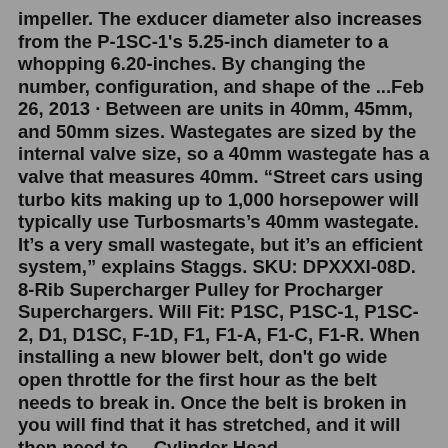impeller. The exducer diameter also increases from the P-1SC-1's 5.25-inch diameter to a whopping 6.20-inches. By changing the number, configuration, and shape of the ...Feb 26, 2013 · Between are units in 40mm, 45mm, and 50mm sizes. Wastegates are sized by the internal valve size, so a 40mm wastegate has a valve that measures 40mm. “Street cars using turbo kits making up to 1,000 horsepower will typically use Turbosmarts’s 40mm wastegate. It’s a very small wastegate, but it’s an efficient system,” explains Staggs. SKU: DPXXXI-08D. 8-Rib Supercharger Pulley for Procharger Superchargers. Will Fit: P1SC, P1SC-1, P1SC-2, D1, D1SC, F-1D, F1, F1-A, F1-C, F1-R. When installing a new blower belt, don't go wide open throttle for the first hour as the belt needs to break in. Once the belt is broken in you will find that it has stretched, and it will then need to ... Cylinder Head Recommendation Guide. Please use the chart below as a preliminary head recommendation guide for our products. There are 4 different compression charts listed. First, pick your...